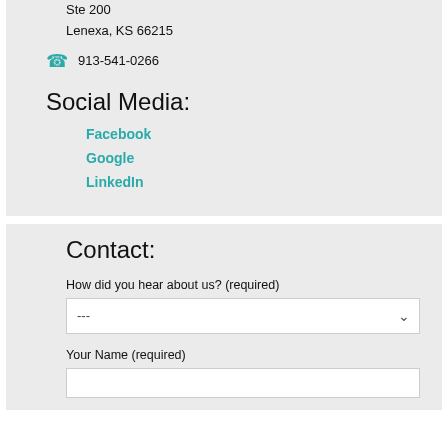Ste 200
Lenexa, KS 66215
913-541-0266
Social Media:
Facebook
Google
LinkedIn
Contact:
How did you hear about us? (required)
Your Name (required)